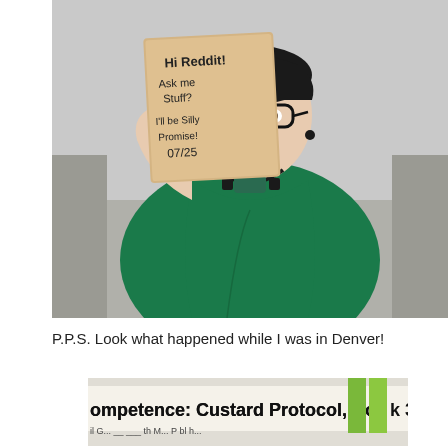[Figure (photo): A smiling woman with glasses and short dark hair, wearing a green wrap-top and a black and green necklace, sitting on a couch holding a handwritten sign that reads: 'Hi Reddit! Ask me stuff? I'll be silly promise! 07/25']
P.P.S. Look what happened while I was in Denver!
[Figure (photo): Partial view of a book cover showing the text 'Competence: Custard Protocol, Book 3' with what appears to be green bookmark ribbons]